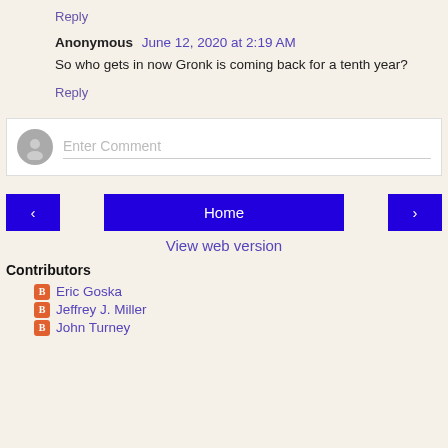Reply
Anonymous  June 12, 2020 at 2:19 AM
So who gets in now Gronk is coming back for a tenth year?
Reply
[Figure (other): Comment input area with avatar icon and placeholder text 'Enter Comment']
[Figure (other): Navigation buttons: back arrow, Home, forward arrow]
View web version
Contributors
Eric Goska
Jeffrey J. Miller
John Turney